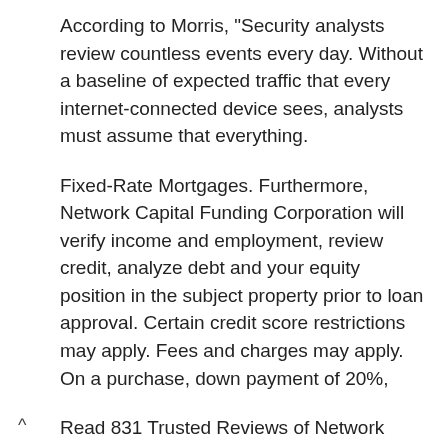According to Morris, "Security analysts review countless events every day. Without a baseline of expected traffic that every internet-connected device sees, analysts must assume that everything.
Fixed-Rate Mortgages. Furthermore, Network Capital Funding Corporation will verify income and employment, review credit, analyze debt and your equity position in the subject property prior to loan approval. Certain credit score restrictions may apply. Fees and charges may apply. On a purchase, down payment of 20%,
Read 831 Trusted Reviews of Network Capital Funding Corporation. Financial Services in Irvine, CA
Network Capital Funding Corporation Reviews (291) Satisfaction rating: Justin C. Network capital is very fast efficient and thorough for a VA REFINANCE mortgage loan. [redacted] was of great assistance